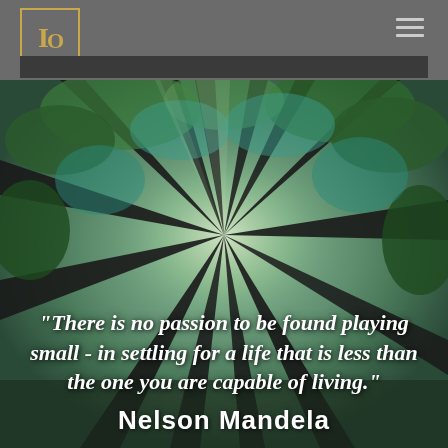[Figure (logo): Logo with stylized 'IO' letters in gold/yellow color inside a bordered box on dark gray header]
[Figure (photo): Upward-looking view through tall forest trees with green foliage and light filtering through, dramatic radial perspective]
"There is no passion to be found playing small - in settling for a life that is less than the one you are capable of living."
Nelson Mandela